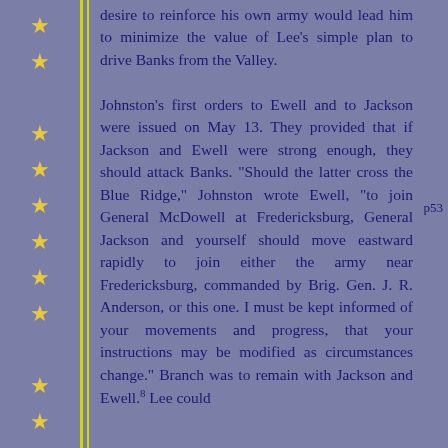desire to reinforce his own army would lead him to minimize the value of Lee's simple plan to drive Banks from the Valley.

Johnston's first orders to Ewell and to Jackson were issued on May 13. They provided that if Jackson and Ewell were strong enough, they should attack Banks. "Should the latter cross the Blue Ridge," Johnston wrote Ewell, "to join General McDowell at Fredericksburg, General Jackson and yourself should move eastward rapidly to join either the army near Fredericksburg, commanded by Brig. Gen. J. R. Anderson, or this one. I must be kept informed of your movements and progress, that your instructions may be modified as circumstances change." Branch was to remain with Jackson and Ewell.⁸ Lee could